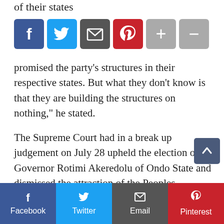of their states
[Figure (infographic): Social share buttons row: Facebook (blue), Twitter (light blue), Email (dark gray), Pinterest (red), Plus (gray), Minus (gray)]
promised the party’s structures in their respective states. But what they don’t know is that they are building the structures on nothing,” he stated.
The Supreme Court had in a break up judgement on July 28 upheld the election of Governor Rotimi Akeredolu of Ondo State and dismissed the attraction of the Peoples Democratic Party’s (PDP) candidate, Eyitayo Jegede for lack of “any scintilla of merit.”
Jegede and the PDP had challenged the October 10,
[Figure (infographic): Bottom social share bar: Facebook (dark blue), Twitter (light blue), Email (dark gray), Pinterest (red)]